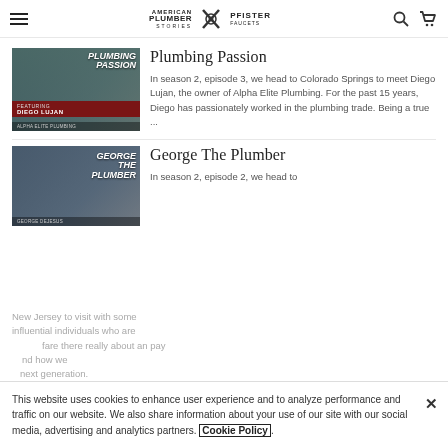American Plumber Stories | Pfister Faucets
Plumbing Passion
In season 2, episode 3, we head to Colorado Springs to meet Diego Lujan, the owner of Alpha Elite Plumbing. For the past 15 years, Diego has passionately worked in the plumbing trade. Being a true ...
George The Plumber
In season 2, episode 2, we head to New Jersey to visit with some influential individuals who are ...
This website uses cookies to enhance user experience and to analyze performance and traffic on our website. We also share information about your use of our site with our social media, advertising and analytics partners. Cookie Policy.